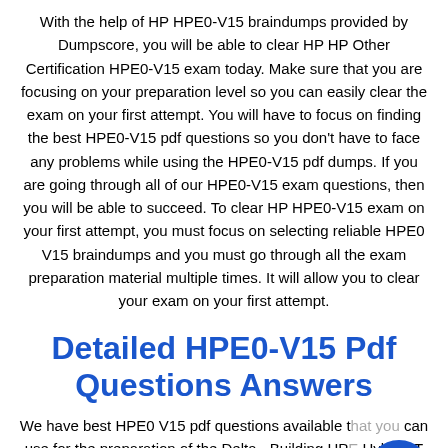With the help of HP HPE0-V15 braindumps provided by Dumpscore, you will be able to clear HP HP Other Certification HPE0-V15 exam today. Make sure that you are focusing on your preparation level so you can easily clear the exam on your first attempt. You will have to focus on finding the best HPE0-V15 pdf questions so you don't have to face any problems while using the HPE0-V15 pdf dumps. If you are going through all of our HPE0-V15 exam questions, then you will be able to succeed. To clear HP HPE0-V15 exam on your first attempt, you must focus on selecting reliable HPE0 V15 braindumps and you must go through all the exam preparation material multiple times. It will allow you to clear your exam on your first attempt.
Detailed HPE0-V15 Pdf Questions Answers
We have best HPE0 V15 pdf questions available that you can use for the preparation of the Delta - Building HPE Hybrid IT Solutions exam. If you are using detailed HPE0...